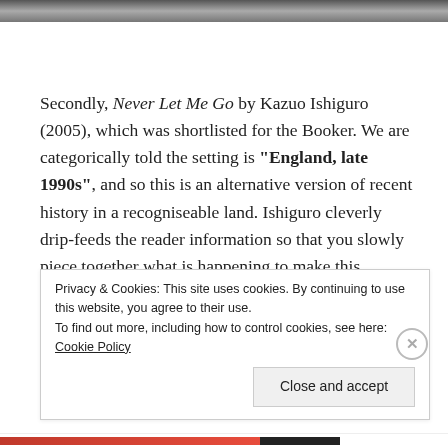[Figure (photo): Partial photo strip at top of page, cropped]
Secondly, Never Let Me Go by Kazuo Ishiguro (2005), which was shortlisted for the Booker. We are categorically told the setting is "England, late 1990s", and so this is an alternative version of recent history in a recogniseable land. Ishiguro cleverly drip-feeds the reader information so that you slowly piece together what is happening to make this different to the
Privacy & Cookies: This site uses cookies. By continuing to use this website, you agree to their use.
To find out more, including how to control cookies, see here: Cookie Policy
Close and accept